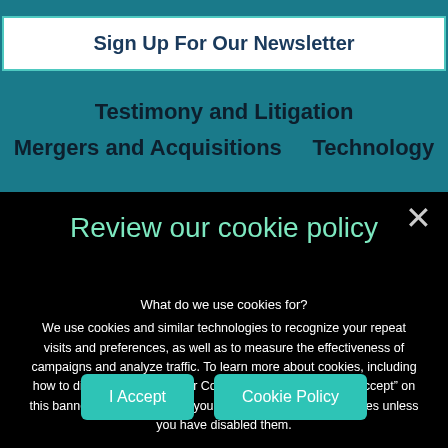Sign Up For Our Newsletter
Testimony and Litigation
Mergers and Acquisitions    Technology
Review our cookie policy
What do we use cookies for?
We use cookies and similar technologies to recognize your repeat visits and preferences, as well as to measure the effectiveness of campaigns and analyze traffic. To learn more about cookies, including how to disable them, view our Cookie Policy. By clicking “I Accept” on this banner, or using our site, you consent to the use of cookies unless you have disabled them.
I Accept
Cookie Policy